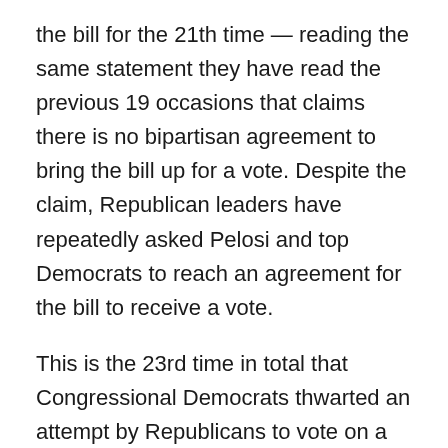the bill for the 21th time — reading the same statement they have read the previous 19 occasions that claims there is no bipartisan agreement to bring the bill up for a vote. Despite the claim, Republican leaders have repeatedly asked Pelosi and top Democrats to reach an agreement for the bill to receive a vote.
This is the 23rd time in total that Congressional Democrats thwarted an attempt by Republicans to vote on a bill that would provide medical care and treatment for babies who provide survived failed abortions — 21 times in the House and twice in the Senate.
Republican Evans (R-N.C.) offered the same...